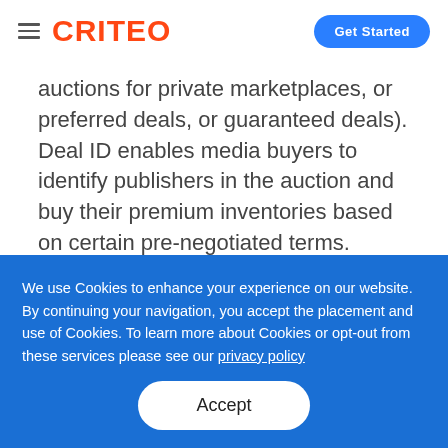CRITEO — Get Started
auctions for private marketplaces, or preferred deals, or guaranteed deals). Deal ID enables media buyers to identify publishers in the auction and buy their premium inventories based on certain pre-negotiated terms.
We use Cookies to enhance your experience on our website. By continuing your navigation, you accept the placement and use of Cookies. To learn more about Cookies or opt-out from these services please see our privacy policy
Accept